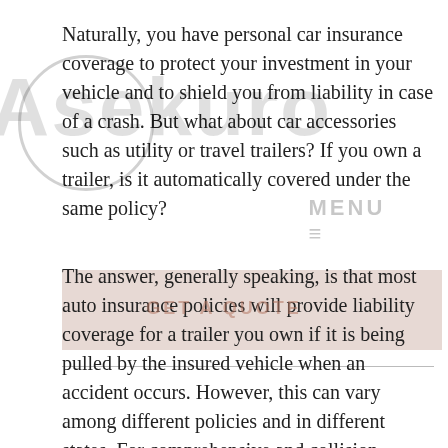Naturally, you have personal car insurance coverage to protect your investment in your vehicle and to shield you from liability in case of a crash. But what about car accessories such as utility or travel trailers? If you own a trailer, is it automatically covered under the same policy?
The answer, generally speaking, is that most auto insurance policies will provide liability coverage for a trailer you own if it is being pulled by the insured vehicle when an accident occurs. However, this can vary among different policies and in different states. For comprehensive and collision insurance on a trailer, you may need to purchase separate coverage and list the trailer on the declarations